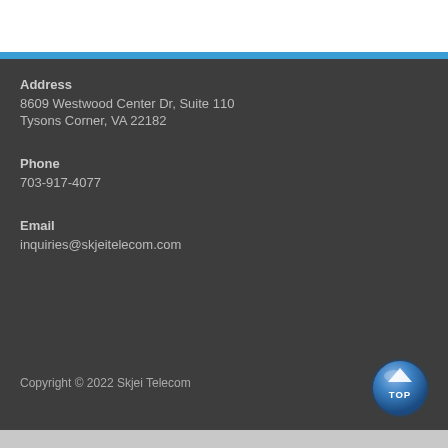Address
8609 Westwood Center Dr, Suite 110
Tysons Corner, VA 22182
Phone
703-917-4077
Email
inquiries@skjeitelecom.com
Copyright © 2022 Skjei Telecom
[Figure (illustration): Blue circular 'TOP' button with upward arrow, used to scroll back to top of page]